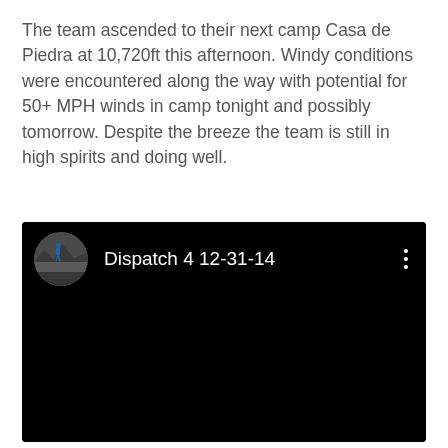The team ascended to their next camp Casa de Piedra at 10,720ft this afternoon. Windy conditions were encountered along the way with potential for 50+ MPH winds in camp tonight and possibly tomorrow. Despite the breeze the team is still in high spirits and doing well.
[Figure (screenshot): A dark/black video player thumbnail with a circular avatar image showing a person standing on rocks, and the title 'Dispatch 4 12-31-14' displayed in white text on black background, with a three-dot menu icon on the right.]